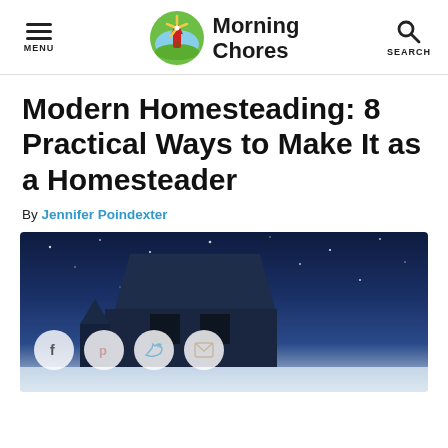Morning Chores — site header with menu and search
Modern Homesteading: 8 Practical Ways to Make It as a Homesteader
By Jennifer Poindexter
[Figure (photo): Night-time photo of a house rooftop against a dark blue starry sky, with social share buttons (Facebook, Pinterest, Twitter, Email) overlaid at the bottom left]